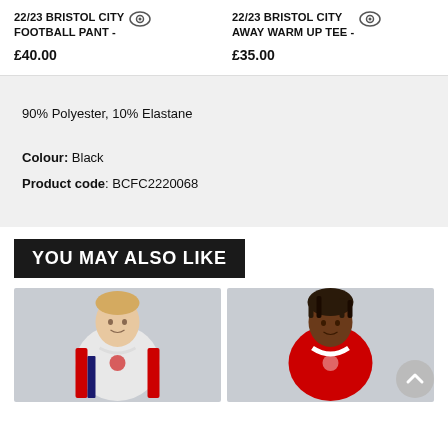22/23 BRISTOL CITY FOOTBALL PANT - £40.00
22/23 BRISTOL CITY AWAY WARM UP TEE - £35.00
90% Polyester, 10% Elastane
Colour: Black
Product code: BCFC2220068
YOU MAY ALSO LIKE
[Figure (photo): Two Bristol City football players in kit, side by side product photos]
[Figure (photo): Scroll to top button, grey circle with upward chevron]